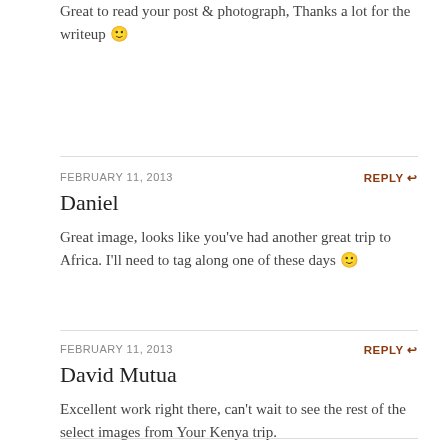Great to read your post & photograph, Thanks a lot for the writeup 🙂
FEBRUARY 11, 2013
REPLY
Daniel
Great image, looks like you've had another great trip to Africa. I'll need to tag along one of these days 🙂
FEBRUARY 11, 2013
REPLY
David Mutua
Excellent work right there, can't wait to see the rest of the select images from Your Kenya trip.